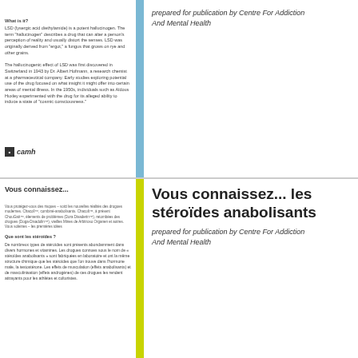prepared for publication by Centre For Addiction And Mental Health
What is it?
LSD (lysergic acid diethylamide) is a potent hallucinogen. The term "hallucinogen" describes a drug that can alter a person's perception of reality and usually distort the senses. LSD was originally derived from "ergot," a fungus that grows on rye and other grains.

The hallucinogenic effect of LSD was first discovered in Switzerland in 1943 by Dr. Albert Hofmann, a research chemist at a pharmaceutical company. Early studies exploring potential use of the drug focused on what insight it might offer into certain areas of mental illness. In the 1950s, individuals such as Aldous Huxley experimented with the drug for its alleged ability to induce a state of "cosmic consciousness."
[Figure (logo): CAMH logo - small square icon with 'camh' text in italic]
Vous connaissez... les stéroïdes anabolisants
prepared for publication by Centre For Addiction And Mental Health
Vous connaissez...
Que sont les stéroïdes ?
De nombreux types de stéroïdes sont présents abondamment dans divers hormones et vitamines. Les drogues connues sous le nom de « stéroïdes anabolisants » sont fabriquées en laboratoire et ont la même structure chimique que les stéroïdes que l'on trouve dans l'hormone male, la testostérone. Les effets de musculation (effets anabolisants) et de masculinisation (effets androgènes) de ces drogues les rendent attrayants pour les athlètes et culturistes.